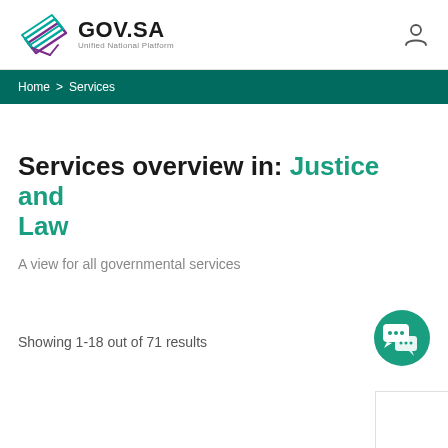[Figure (logo): GOV.SA Unified National Platform logo with stylized layered card icon in teal and purple]
Home > Services
Services overview in: Justice and Law
A view for all governmental services
[Figure (illustration): Green circular chat/messaging icon button]
Showing 1-18 out of 71 results